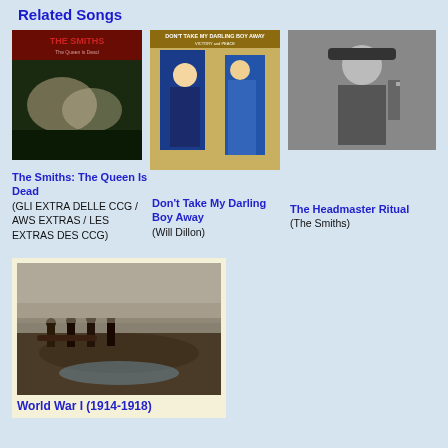Related Songs
[Figure (photo): Album cover for The Smiths: The Queen Is Dead, dark image with hands]
[Figure (photo): Vintage illustration for Don't Take My Darling Boy Away, figures in scene]
[Figure (photo): Black and white photo of a man in academic gown for The Headmaster Ritual]
The Smiths: The Queen Is Dead (GLI EXTRA DELLE CCG / AWS EXTRAS / LES EXTRAS DES CCG)
Don't Take My Darling Boy Away (Will Dillon)
The Headmaster Ritual (The Smiths)
[Figure (photo): Black and white World War I photo showing soldiers in muddy trench landscape]
World War I (1914-1918)